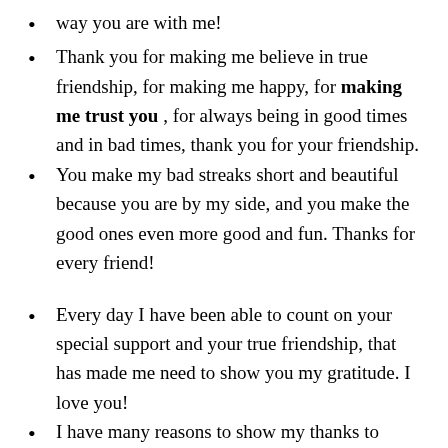way you are with me!
Thank you for making me believe in true friendship, for making me happy, for making me trust you , for always being in good times and in bad times, thank you for your friendship.
You make my bad streaks short and beautiful because you are by my side, and you make the good ones even more good and fun. Thanks for every friend!
Every day I have been able to count on your special support and your true friendship, that has made me need to show you my gratitude. I love you!
I have many reasons to show my thanks to God, and one of the main reasons is to have been able to enjoy your friendship . Thank you for existing in my life!